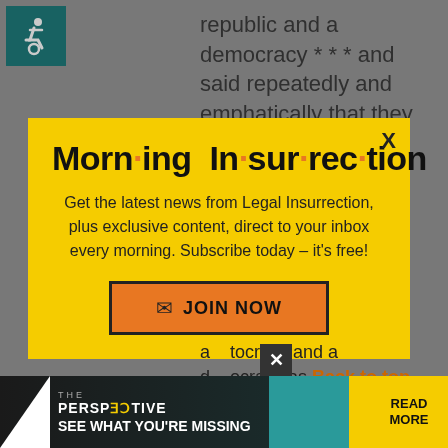[Figure (other): Wheelchair accessibility icon in teal square]
republic and a democracy * * * and said repeatedly and emphatically that they
[Figure (infographic): Morning Insurrection newsletter subscription modal popup with yellow background, title 'Morn·ing In·sur·rec·tion', body text about subscribing, and orange JOIN NOW button]
autocracy and a democracy as Back to top
[Figure (infographic): THE PERSPECTIVE advertisement banner: SEE WHAT YOU'RE MISSING, READ MORE button]